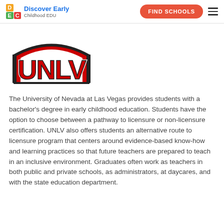Discover Early Childhood EDU | FIND SCHOOLS
[Figure (logo): UNLV (University of Nevada Las Vegas) logo in red block letters with black outline, arched style]
The University of Nevada at Las Vegas provides students with a bachelor's degree in early childhood education. Students have the option to choose between a pathway to licensure or non-licensure certification. UNLV also offers students an alternative route to licensure program that centers around evidence-based know-how and learning practices so that future teachers are prepared to teach in an inclusive environment. Graduates often work as teachers in both public and private schools, as administrators, at daycares, and with the state education department.